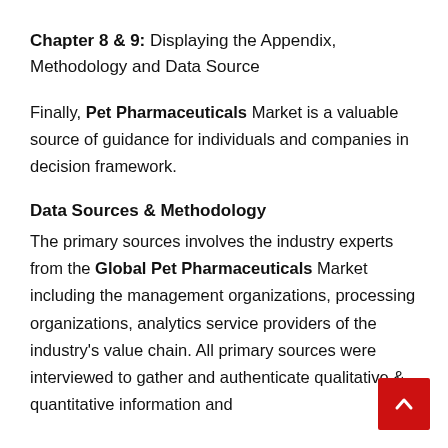Chapter 8 & 9: Displaying the Appendix, Methodology and Data Source
Finally, Pet Pharmaceuticals Market is a valuable source of guidance for individuals and companies in decision framework.
Data Sources & Methodology
The primary sources involves the industry experts from the Global Pet Pharmaceuticals Market including the management organizations, processing organizations, analytics service providers of the industry's value chain. All primary sources were interviewed to gather and authenticate qualitative & quantitative information and the primary findings...